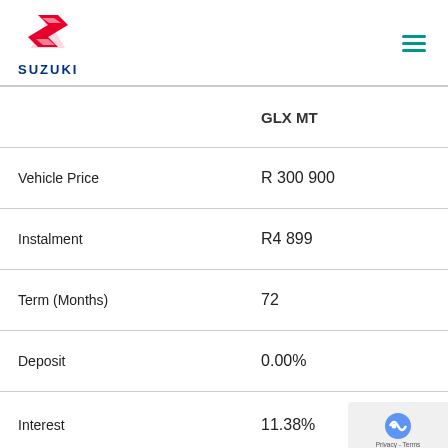[Figure (logo): Suzuki logo — red S emblem above the word SUZUKI in dark blue]
|  | GLX MT |
| --- | --- |
| Vehicle Price | R 300 900 |
| Instalment | R4 899 |
| Term (Months) | 72 |
| Deposit | 0.00% |
| Interest | 11.38% |